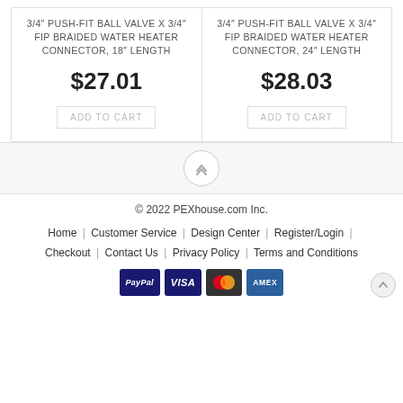3/4" PUSH-FIT BALL VALVE X 3/4" FIP BRAIDED WATER HEATER CONNECTOR, 18" LENGTH
$27.01
ADD TO CART
3/4" PUSH-FIT BALL VALVE X 3/4" FIP BRAIDED WATER HEATER CONNECTOR, 24" LENGTH
$28.03
ADD TO CART
© 2022 PEXhouse.com Inc.
Home | Customer Service | Design Center | Register/Login | Checkout | Contact Us | Privacy Policy | Terms and Conditions